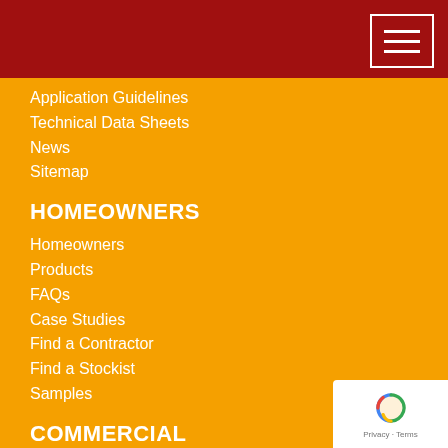Navigation menu header bar
Application Guidelines
Technical Data Sheets
News
Sitemap
HOMEOWNERS
Homeowners
Products
FAQs
Case Studies
Find a Contractor
Find a Stockist
Samples
COMMERCIAL
Commercial
Products
FAQs
Case Studies
Paving Failure
SUDS/Water Management